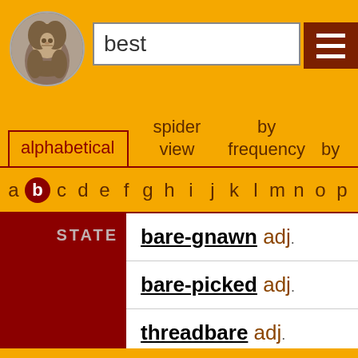[Figure (illustration): Circular portrait of Shakespeare in grayscale engraving style]
best
alphabetical   spider by view   by frequency   by
a b c d e f g h i j k l m n o p q
| STATE | Word |
| --- | --- |
| STATE | bare-gnawn adj. |
|  | bare-picked adj. |
|  | threadbare adj. |